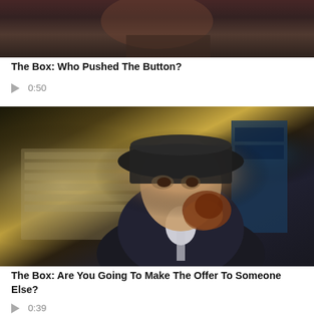[Figure (screenshot): Video thumbnail showing a partial scene from The Box, top portion with dark reddish tones]
The Box: Who Pushed The Button?
▶ 0:50
[Figure (screenshot): Video thumbnail showing a man in a black hat and suit with scarred/burned face, standing in an office-like background]
The Box: Are You Going To Make The Offer To Someone Else?
▶ 0:39